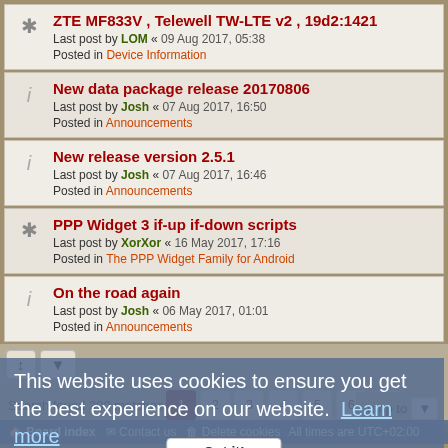ZTE MF833V , Telewell TW-LTE v2 , 19d2:1421 — Last post by LOM « 09 Aug 2017, 05:38 — Posted in Device Information
New data package release 20170806 — Last post by Josh « 07 Aug 2017, 16:50 — Posted in Announcements
New release version 2.5.1 — Last post by Josh « 07 Aug 2017, 16:46 — Posted in Announcements
PPP Widget 3 if-up if-down scripts — Last post by XorXor « 16 May 2017, 17:16 — Posted in The PPP Widget Family for Android
On the road again — Last post by Josh « 06 May 2017, 01:01 — Posted in Announcements
Search found 300 matches  1 2 3 4 5 6 >
jump to
This website uses cookies to ensure you get the best experience on our website.  Learn more
Got it!
Board index   Contact us   Delete cookies   All times are UTC+02:00
Nosebleed style by Mike Lothar | Ported to phpBB3.2 by Ian Bradley
Powered by phpBB® Forum Software © phpBB Limited
Privacy | Terms